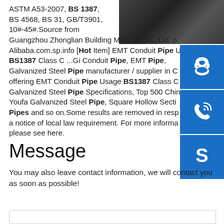ASTM A53-2007, BS 1387, BS 4568, BS 31, GB/T3901, 10#-45#.Source from Guangzhou Zhonglian Building Material Co., Ltd. on Alibaba.com.sp.info [Hot Item] EMT Conduit Pipe BS1387 Class C ...Gi Conduit Pipe, EMT Pipe, Galvanized Steel Pipe manufacturer / supplier in China, offering EMT Conduit Pipe Usage BS1387 Class C, Galvanized Steel Pipe Specifications, Top 500 China Youfa Galvanized Steel Pipe, Square Hollow Section Pipes and so on.Some results are removed in response to a notice of local law requirement. For more information, please see here.
[Figure (photo): Dark metallic pipe surface photo in upper right corner]
[Figure (infographic): Blue icon button with customer service headset icon]
[Figure (infographic): Blue icon button with phone/call icon]
[Figure (infographic): Blue icon button with Skype logo icon]
Message
You may also leave contact information, we will contact you as soon as possible!